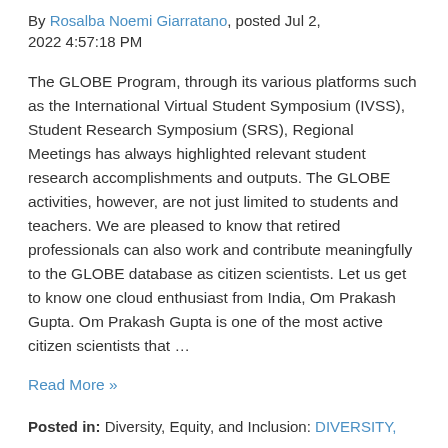By Rosalba Noemi Giarratano, posted Jul 2, 2022 4:57:18 PM
The GLOBE Program, through its various platforms such as the International Virtual Student Symposium (IVSS), Student Research Symposium (SRS), Regional Meetings has always highlighted relevant student research accomplishments and outputs. The GLOBE activities, however, are not just limited to students and teachers. We are pleased to know that retired professionals can also work and contribute meaningfully to the GLOBE database as citizen scientists. Let us get to know one cloud enthusiast from India, Om Prakash Gupta. Om Prakash Gupta is one of the most active citizen scientists that ...
Read More »
Posted in: Diversity, Equity, and Inclusion: DIVERSITY,